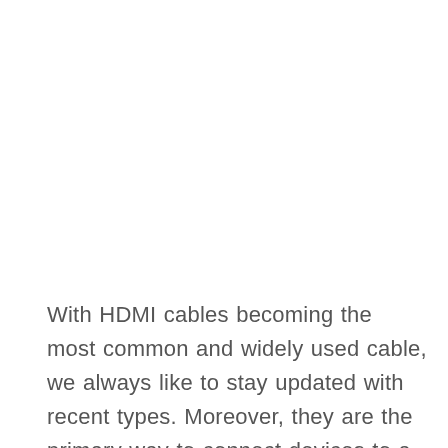With HDMI cables becoming the most common and widely used cable, we always like to stay updated with recent types. Moreover, they are the primary way to connect devices to a TV or a home-theater set-up. At the same